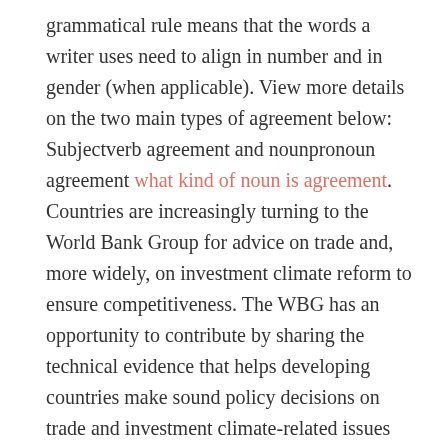grammatical rule means that the words a writer uses need to align in number and in gender (when applicable). View more details on the two main types of agreement below: Subjectverb agreement and nounpronoun agreement what kind of noun is agreement. Countries are increasingly turning to the World Bank Group for advice on trade and, more widely, on investment climate reform to ensure competitiveness. The WBG has an opportunity to contribute by sharing the technical evidence that helps developing countries make sound policy decisions on trade and investment climate-related issues that will be critical for future growth and poverty reduction. In February 2017, the World Trade Organizations Trade Facilitation Agreement entered into force, spearheading a global effort to reduce trade costs and help countries better connect to the global economy (http://www.pencilsquaregames.com/what-do-trade-